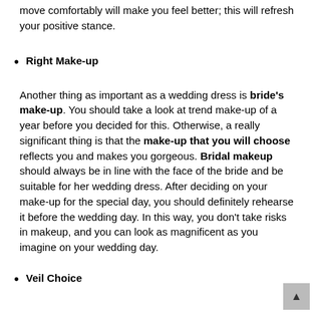move comfortably will make you feel better; this will refresh your positive stance.
Right Make-up
Another thing as important as a wedding dress is bride's make-up. You should take a look at trend make-up of a year before you decided for this. Otherwise, a really significant thing is that the make-up that you will choose reflects you and makes you gorgeous. Bridal makeup should always be in line with the face of the bride and be suitable for her wedding dress. After deciding on your make-up for the special day, you should definitely rehearse it before the wedding day. In this way, you don't take risks in makeup, and you can look as magnificent as you imagine on your wedding day.
Veil Choice